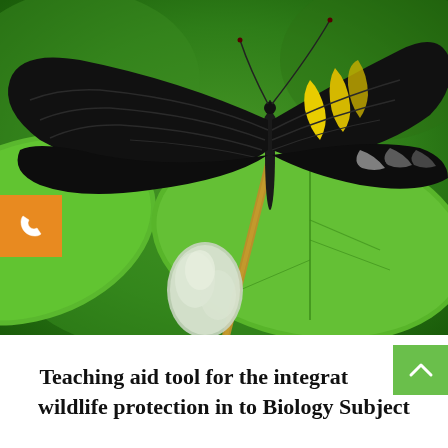[Figure (photo): Close-up photograph of a large black and yellow butterfly (likely a Rajah Brooke's Birdwing or similar species) perched on green leaves with a white flower bud. The butterfly has striking black wings with yellow/gold stripe patterns. Background is blurred green foliage. An orange phone/call button icon is overlaid on the left side of the image.]
Teaching aid tool for the integrat wildlife protection in to Biology Subject